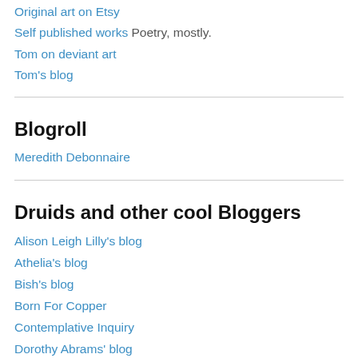Original art on Etsy
Self published works  Poetry, mostly.
Tom on deviant art
Tom's blog
Blogroll
Meredith Debonnaire
Druids and other cool Bloggers
Alison Leigh Lilly's blog
Athelia's blog
Bish's blog
Born For Copper
Contemplative Inquiry
Dorothy Abrams' blog
Feral Druidry
Fiona Tinker's blog